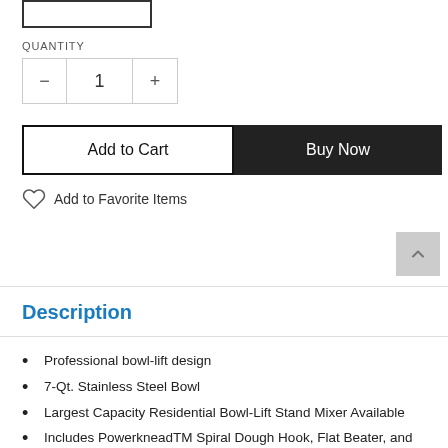[Figure (other): Product image placeholder box]
QUANTITY
[Figure (other): Quantity selector with minus, 1, plus controls]
[Figure (other): Add to Cart and Buy Now buttons]
Add to Favorite Items
Description
Professional bowl-lift design
7-Qt. Stainless Steel Bowl
Largest Capacity Residential Bowl-Lift Stand Mixer Available
Includes PowerkneadTM Spiral Dough Hook, Flat Beater, and